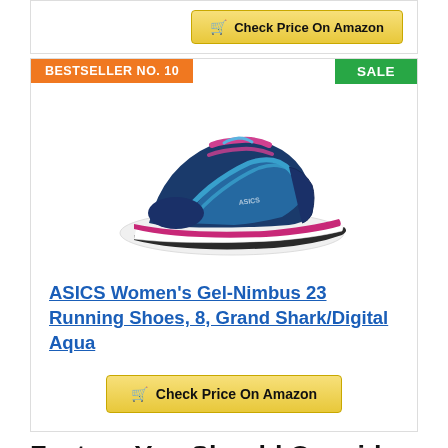[Figure (other): Check Price On Amazon button at top of page (partial card)]
BESTSELLER NO. 10
SALE
[Figure (photo): ASICS Women's Gel-Nimbus 23 Running Shoe in Grand Shark/Digital Aqua colorway — navy blue shoe with teal/blue ASICS swoosh branding and pink/magenta accents on sole and laces]
ASICS Women's Gel-Nimbus 23 Running Shoes, 8, Grand Shark/Digital Aqua
Check Price On Amazon
Factors You Should Consider Before Buying The womens asics running shoes for overpronation